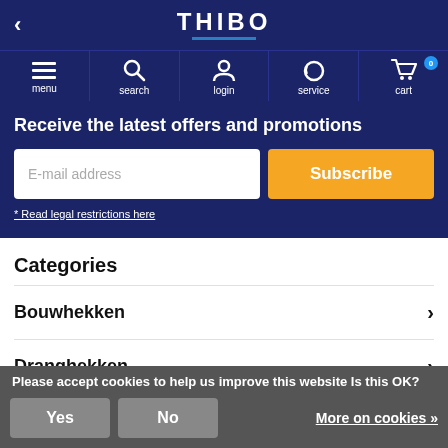THIBO
[Figure (screenshot): Navigation bar with menu, search, login, service, cart icons]
Receive the latest offers and promotions
E-mail address
Subscribe
* Read legal restrictions here
Categories
Bouwhekken
Dranghekken
Hokow
Please accept cookies to help us improve this website Is this OK?
Yes
No
More on cookies »